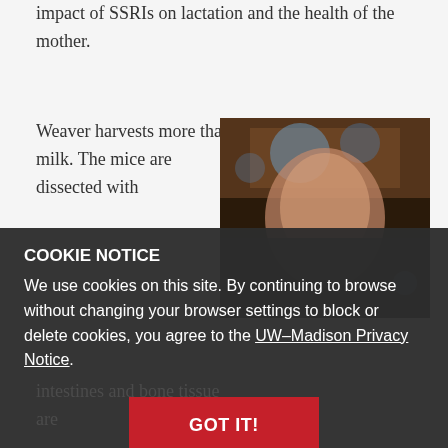impact of SSRIs on lactation and the health of the mother.
Weaver harvests more than milk. The mice are dissected with
[Figure (photo): Close-up photo of a person, partially blurred, dark tones in lower half due to cookie overlay.]
COOKIE NOTICE
We use cookies on this site. By continuing to browse without changing your browser settings to block or delete cookies, you agree to the UW–Madison Privacy Notice.
intestines and bone tissue are